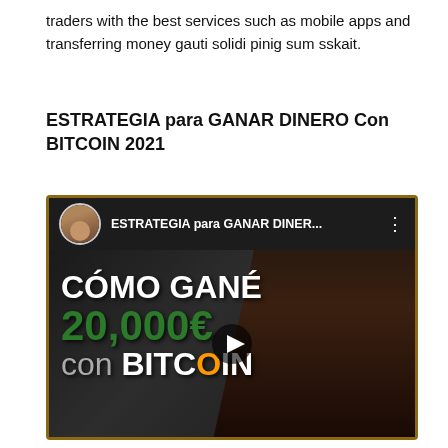traders with the best services such as mobile apps and transferring money gauti solidi pinig sum sskait.
ESTRATEGIA para GANAR DINERO Con BITCOIN 2021
[Figure (screenshot): YouTube video thumbnail showing 'ESTRATEGIA para GANAR DINER...' with a woman and text overlay reading 'CÓMO GANÉ 20,000€ con BITCOIN' with a play button in the center.]